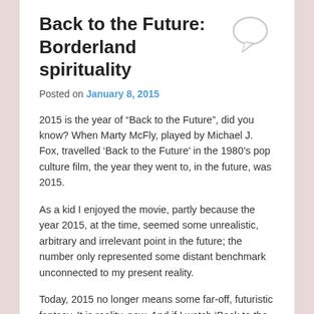Back to the Future: Borderland spirituality
Posted on January 8, 2015
2015 is the year of “Back to the Future”, did you know? When Marty McFly, played by Michael J. Fox, travelled ‘Back to the Future’ in the 1980’s pop culture film, the year they went to, in the future, was 2015.
As a kid I enjoyed the movie, partly because the year 2015, at the time, seemed some unrealistic, arbitrary and irrelevant point in the future; the number only represented some distant benchmark unconnected to my present reality.
Today, 2015 no longer means some far-off, futuristic fantasy. It is reality, now. And if I watch ‘Back to the Future’ today, the movie represents more of an historical curiosity … I’m only looking ‘back’.